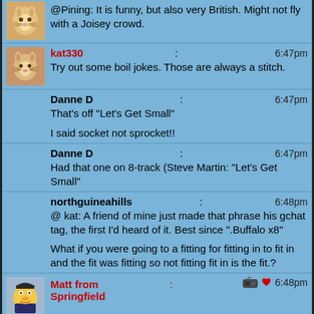@Pining: It is funny, but also very British. Might not fly with a Joisey crowd.
kat330: 6:47pm
Try out some boil jokes. Those are always a stitch.
Danne D: 6:47pm
That's off "Let's Get Small"

I said socket not sprocket!!
Danne D: 6:47pm
Had that one on 8-track (Steve Martin: "Let's Get Small"
northguineahills: 6:48pm
@ kat: A friend of mine just made that phrase his gchat tag, the first I'd heard of it. Best since ".Buffalo x8"

What if you were going to a fitting for fitting in to fit in and the fit was fitting so not fitting fit in is the fit.?
Matt from Springfield: 6:48pm